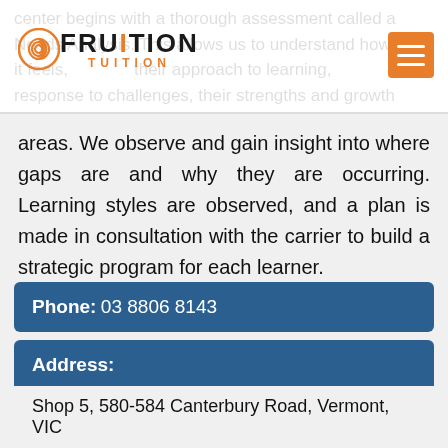center begins with a thorough assessment called a Needs Analysis. This allows us to understand how it feels, their approach to learning, response to challenges, their strengths and growth areas.
[Figure (logo): Fruition Tuition logo with orange spiral icon and text]
areas. We observe and gain insight into where gaps are and why they are occurring. Learning styles are observed, and a plan is made in consultation with the carrier to build a strategic program for each learner.
Phone: 03 8806 8143
Address: Shop 5, 580-584 Canterbury Road, Vermont, VIC